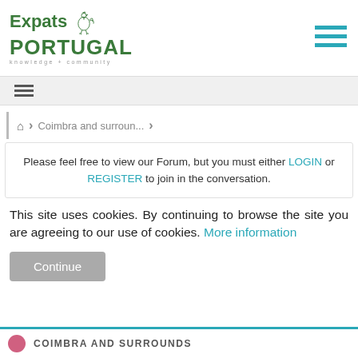[Figure (logo): Expats Portugal logo with rooster illustration, green bold text reading 'Expats PORTUGAL' and tagline 'knowledge + community']
[Figure (illustration): Three horizontal teal/blue lines forming a hamburger menu icon in the top right corner]
[Figure (illustration): Three horizontal dark lines forming a small hamburger menu icon in a gray bar]
⌂ > Coimbra and surroun... >
Please feel free to view our Forum, but you must either LOGIN or REGISTER to join in the conversation.
This site uses cookies. By continuing to browse the site you are agreeing to our use of cookies. More information
Continue
COIMBRA AND SURROUNDS